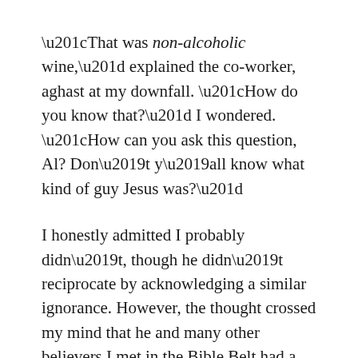“That was non-alcoholic wine,” explained the co-worker, aghast at my downfall. “How do you know that?” I wondered. “How can you ask this question, Al? Don’t y’all know what kind of guy Jesus was?”
I honestly admitted I probably didn’t, though he didn’t reciprocate by acknowledging a similar ignorance. However, the thought crossed my mind that he and many other believers I met in the Bible Belt had a tad primitive, not to say vulgar, notion of Christ.
My co-worker in New York was an atheist with strong ideas about the appearance of God in whom she didn’t believe.